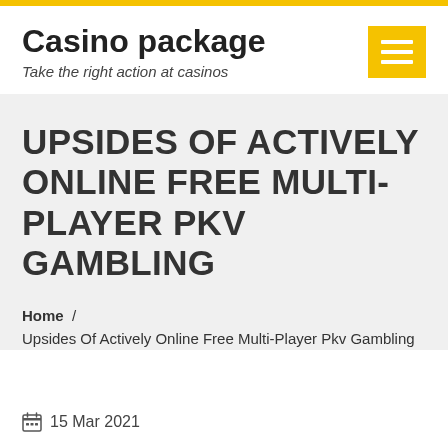Casino package — Take the right action at casinos
UPSIDES OF ACTIVELY ONLINE FREE MULTI-PLAYER PKV GAMBLING
Home / Upsides Of Actively Online Free Multi-Player Pkv Gambling
15 Mar 2021